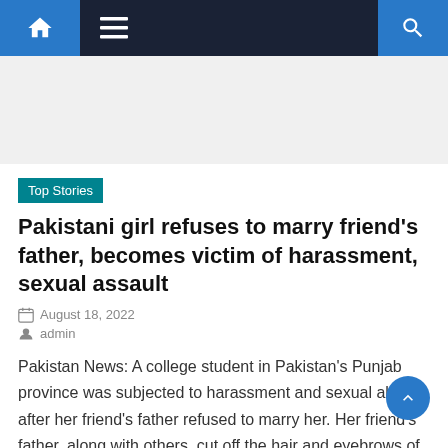Navigation bar with home, menu, and search icons
[Figure (other): Advertisement / blank space placeholder]
Top Stories
Pakistani girl refuses to marry friend's father, becomes victim of harassment, sexual assault
August 18, 2022
admin
Pakistan News: A college student in Pakistan's Punjab province was subjected to harassment and sexual abuse after her friend's father refused to marry her. Her friend's father, along with others, cut off the hair and eyebrows of this girl student and threatened that if she does not give her [...]